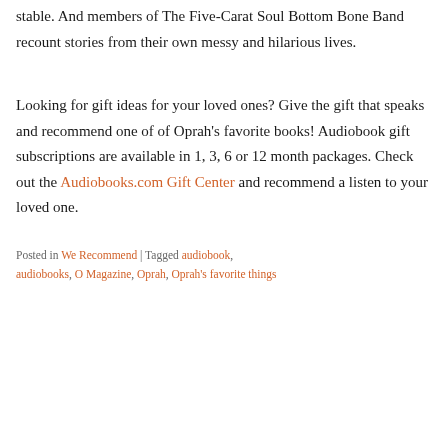stable. And members of The Five-Carat Soul Bottom Bone Band recount stories from their own messy and hilarious lives.
Looking for gift ideas for your loved ones? Give the gift that speaks and recommend one of of Oprah's favorite books! Audiobook gift subscriptions are available in 1, 3, 6 or 12 month packages. Check out the Audiobooks.com Gift Center and recommend a listen to your loved one.
Posted in We Recommend | Tagged audiobook, audiobooks, O Magazine, Oprah, Oprah's favorite things